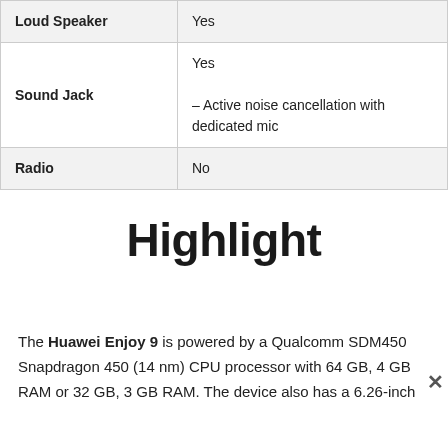| Loud Speaker | Yes |
| Sound Jack | Yes
– Active noise cancellation with dedicated mic |
| Radio | No |
Highlight
The Huawei Enjoy 9 is powered by a Qualcomm SDM450 Snapdragon 450 (14 nm) CPU processor with 64 GB, 4 GB RAM or 32 GB, 3 GB RAM. The device also has a 6.26-inch